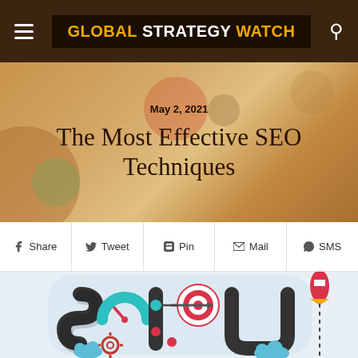GLOBAL STRATEGY WATCH
May 2, 2021
The Most Effective SEO Techniques
Share  Tweet  Pin  Mail  SMS
[Figure (illustration): SEO flat design illustration showing letters S, E, O formed from winding roads, with target/bullseye, speedometer gauge, rocket, gear, and cloud icons in teal, red, and dark grey colors on a light blue-grey background.]